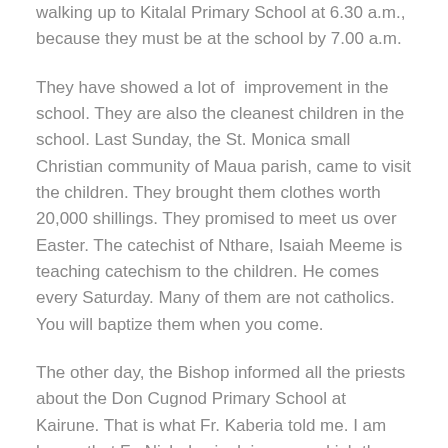walking up to Kitalal Primary School at 6.30 a.m., because they must be at the school by 7.00 a.m.
They have showed a lot of  improvement in the school. They are also the cleanest children in the school. Last Sunday, the St. Monica small Christian community of Maua parish, came to visit the children. They brought them clothes worth 20,000 shillings. They promised to meet us over Easter. The catechist of Nthare, Isaiah Meeme is teaching catechism to the children. He comes every Saturday. Many of them are not catholics. You will baptize them when you come.
The other day, the Bishop informed all the priests about the Don Cugnod Primary School at Kairune. That is what Fr. Kaberia told me. I am happy that Fr. Nicholas is doing a good job there. He comes from the place and he knows the people. He is the right person for Kairune.